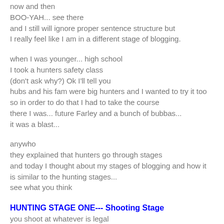now and then
BOO-YAH... see there
and I still will ignore proper sentence structure but
I really feel like I am in a different stage of blogging.
when I was younger... high school
I took a hunters safety class
(don't ask why?) Ok I'll tell you
hubs and his fam were big hunters and I wanted to try it too
so in order to do that I had to take the course
there I was... future Farley and a bunch of bubbas...
it was a blast...
anywho
they explained that hunters go through stages
and today I thought about my stages of blogging and how it
is similar to the hunting stages...
see what you think
HUNTING STAGE ONE--- Shooting Stage
you shoot at whatever is legal
you do all you can do to get  as many shots out as possible